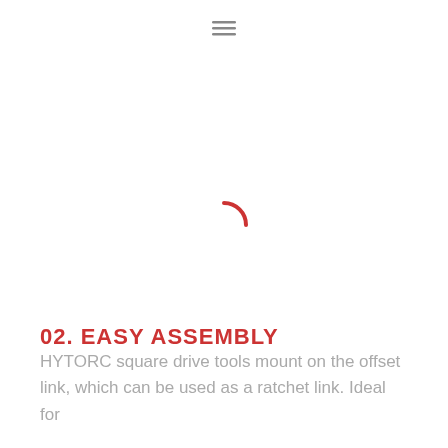≡
[Figure (other): Loading spinner animation — a red arc/semicircle indicating content is loading]
02. EASY ASSEMBLY
HYTORC square drive tools mount on the offset link, which can be used as a ratchet link. Ideal for